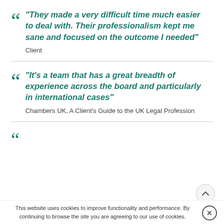"They made a very difficult time much easier to deal with. Their professionalism kept me sane and focused on the outcome I needed"
Client
"It's a team that has a great breadth of experience across the board and particularly in international cases"
Chambers UK, A Client's Guide to the UK Legal Profession
This website uses cookies to improve functionality and performance. By continuing to browse the site you are agreeing to our use of cookies.